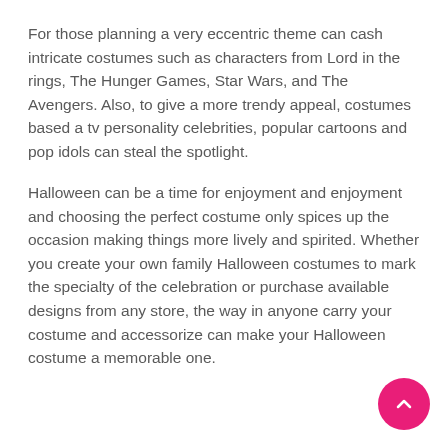For those planning a very eccentric theme can cash intricate costumes such as characters from Lord in the rings, The Hunger Games, Star Wars, and The Avengers. Also, to give a more trendy appeal, costumes based a tv personality celebrities, popular cartoons and pop idols can steal the spotlight.
Halloween can be a time for enjoyment and enjoyment and choosing the perfect costume only spices up the occasion making things more lively and spirited. Whether you create your own family Halloween costumes to mark the specialty of the celebration or purchase available designs from any store, the way in anyone carry your costume and accessorize can make your Halloween costume a memorable one.